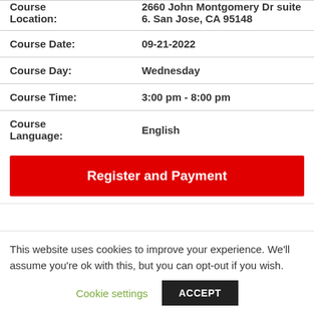| Course Location: | 2660 John Montgomery Dr suite 6. San Jose, CA 95148 |
| Course Date: | 09-21-2022 |
| Course Day: | Wednesday |
| Course Time: | 3:00 pm - 8:00 pm |
| Course Language: | English |
Register and Payment
This website uses cookies to improve your experience. We'll assume you're ok with this, but you can opt-out if you wish.
Cookie settings
ACCEPT